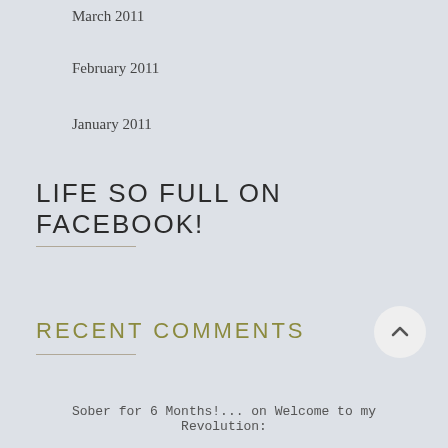March 2011
February 2011
January 2011
LIFE SO FULL ON FACEBOOK!
RECENT COMMENTS
Sober for 6 Months!... on Welcome to my Revolution: